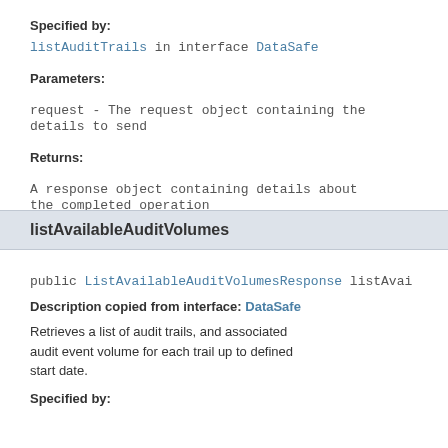Specified by:
listAuditTrails in interface DataSafe
Parameters:
request - The request object containing the details to send
Returns:
A response object containing details about the completed operation
listAvailableAuditVolumes
public ListAvailableAuditVolumesResponse listAvai
Description copied from interface: DataSafe
Retrieves a list of audit trails, and associated audit event volume for each trail up to defined start date.
Specified by: